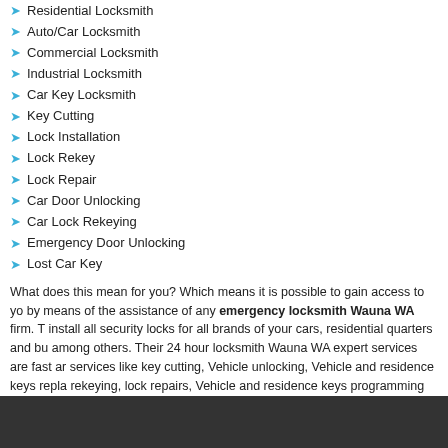Residential Locksmith
Auto/Car Locksmith
Commercial Locksmith
Industrial Locksmith
Car Key Locksmith
Key Cutting
Lock Installation
Lock Rekey
Lock Repair
Car Door Unlocking
Car Lock Rekeying
Emergency Door Unlocking
Lost Car Key
What does this mean for you? Which means it is possible to gain access to your by means of the assistance of any emergency locksmith Wauna WA firm. T install all security locks for all brands of your cars, residential quarters and bu among others. Their 24 hour locksmith Wauna WA expert services are fast ar services like key cutting, Vehicle unlocking, Vehicle and residence keys repla rekeying, lock repairs, Vehicle and residence keys programming and doors un
Zip: 98395
Area Code: 360
State: Washington